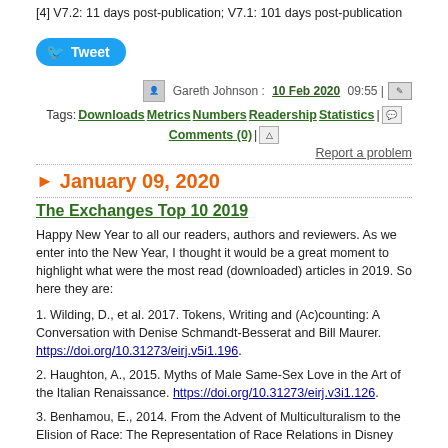[4] V7.2: 11 days post-publication; V7.1: 101 days post-publication
Tweet
Gareth Johnson : 10 Feb 2020 09:55 |
Tags: Downloads Metrics Numbers Readership Statistics | Comments (0) |
Report a problem
January 09, 2020
The Exchanges Top 10 2019
Happy New Year to all our readers, authors and reviewers. As we enter into the New Year, I thought it would be a great moment to highlight what were the most read (downloaded) articles in 2019. So here they are:
1. Wilding, D., et al. 2017. Tokens, Writing and (Ac)counting: A Conversation with Denise Schmandt-Besserat and Bill Maurer. https://doi.org/10.31273/eirj.v5i1.196.
2. Haughton, A., 2015. Myths of Male Same-Sex Love in the Art of the Italian Renaissance. https://doi.org/10.31273/eirj.v3i1.126.
3. Benhamou, E., 2014. From the Advent of Multiculturalism to the Elision of Race: The Representation of Race Relations in Disney Animated Features (1995-2009). https://doi.org/10.31273/eirj.v2i1.106.